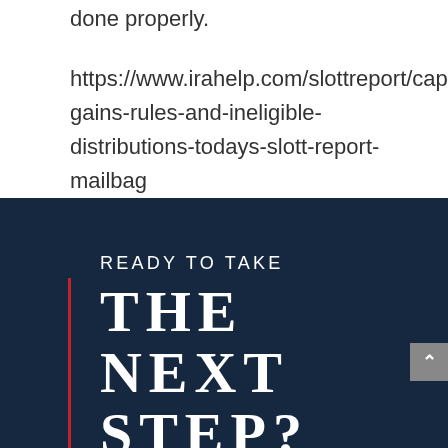done properly.
https://www.irahelp.com/slottreport/capital-gains-rules-and-ineligible-distributions-todays-slott-report-mailbag
[Figure (illustration): Dark navy blue banner with red vertical line on left side. Text reads 'READY TO TAKE' in light spaced capitals, then 'THE NEXT STEP?' in large bold serif capitals below.]